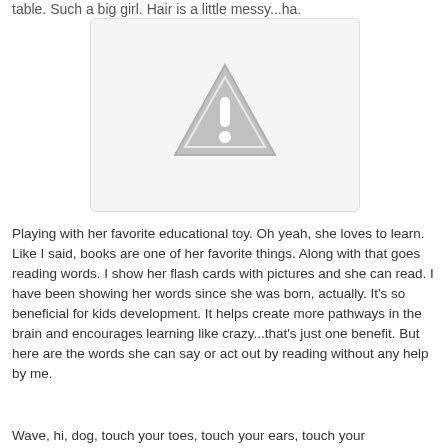table. Such a big girl. Hair is a little messy...ha.
[Figure (photo): Placeholder image with warning triangle icon indicating unavailable photo]
Playing with her favorite educational toy. Oh yeah, she loves to learn. Like I said, books are one of her favorite things. Along with that goes reading words. I show her flash cards with pictures and she can read. I have been showing her words since she was born, actually. It's so beneficial for kids development. It helps create more pathways in the brain and encourages learning like crazy...that's just one benefit. But here are the words she can say or act out by reading without any help by me.
Wave, hi, dog, touch your toes, touch your ears, touch your